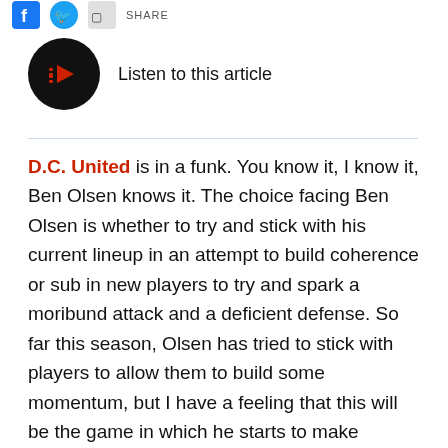[Figure (other): Social media share icons: Facebook, Twitter, and a share button with SHARE text]
[Figure (other): Black circular audio player button with red waveform icon, next to text 'Listen to this article']
D.C. United is in a funk. You know it, I know it, Ben Olsen knows it. The choice facing Ben Olsen is whether to try and stick with his current lineup in an attempt to build coherence or sub in new players to try and spark a moribund attack and a deficient defense. So far this season, Olsen has tried to stick with players to allow them to build some momentum, but I have a feeling that this will be the game in which he starts to make changes.